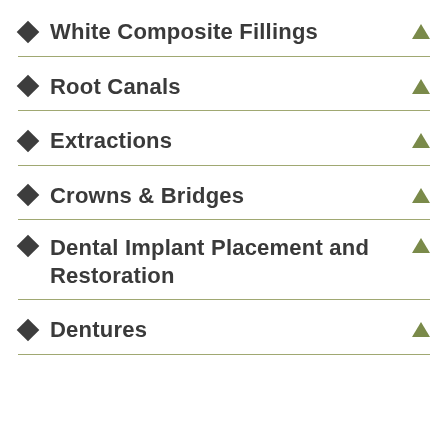White Composite Fillings
Root Canals
Extractions
Crowns & Bridges
Dental Implant Placement and Restoration
Dentures